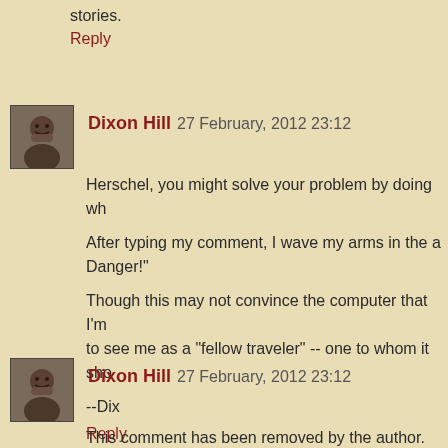stories.
Reply
Dixon Hill 27 February, 2012 23:12
Herschel, you might solve your problem by doing wh
After typing my comment, I wave my arms in the a Danger!"
Though this may not convince the computer that I'm to see me as a "fellow traveler" -- one to whom it sho
--Dix
Reply
Dixon Hill 27 February, 2012 23:12
This comment has been removed by the author.